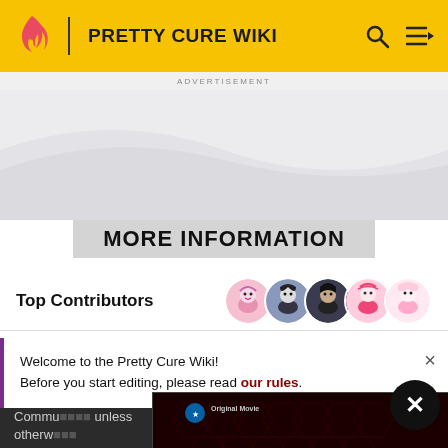PRETTY CURE WIKI
ADVERTISEMENT
MORE INFORMATION
Top Contributors
[Figure (photo): Four overlapping circular avatar images of Pretty Cure Wiki top contributors]
Welcome to the Pretty Cure Wiki! Before you start editing, please read our rules.
Commu... unless otherw...
[Figure (screenshot): Advertisement for Secret Headquarters movie on Paramount+, featuring Owen Wilson. Text: Original Movie, OWEN WILSON, SECRET HEADQUARTERS, NOW STREAMING, FAMILY FUN ON Paramount+, TRY IT FREE]